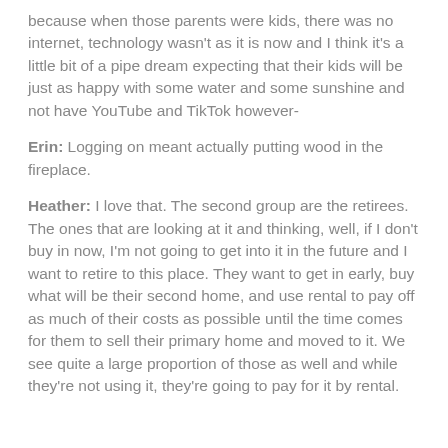because when those parents were kids, there was no internet, technology wasn't as it is now and I think it's a little bit of a pipe dream expecting that their kids will be just as happy with some water and some sunshine and not have YouTube and TikTok however-
Erin: Logging on meant actually putting wood in the fireplace.
Heather: I love that. The second group are the retirees. The ones that are looking at it and thinking, well, if I don't buy in now, I'm not going to get into it in the future and I want to retire to this place. They want to get in early, buy what will be their second home, and use rental to pay off as much of their costs as possible until the time comes for them to sell their primary home and moved to it. We see quite a large proportion of those as well and while they're not using it, they're going to pay for it by rental.